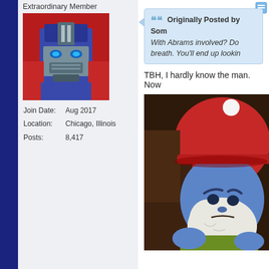Extraordinary Member
[Figure (illustration): Avatar image of Transformers character (Optimus Prime style) with blue/grey robot face and red background]
| Join Date: | Aug 2017 |
| Location: | Chicago, Illinois |
| Posts: | 8,417 |
[Figure (screenshot): Forum toolbar icon (document/list icon)]
Originally Posted by Som...
With Abrams involved? Don... breath. You'll end up lookin...
TBH, I hardly know the man. Now
[Figure (illustration): Cartoon image of Papa Smurf looking angry/grumpy, with red hat, white beard, blue skin, and green/brown background]